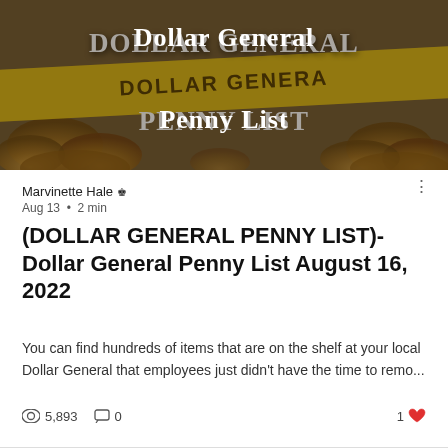[Figure (photo): Dollar General Penny List banner image showing coins in background and yellow Dollar General tape/banner, with text 'Dollar General Penny List' overlaid in white]
Marvinette Hale 👑 Aug 13 · 2 min
(DOLLAR GENERAL PENNY LIST)-Dollar General Penny List August 16, 2022
You can find hundreds of items that are on the shelf at your local Dollar General that employees just didn't have the time to remo...
👁 5,893   💬 0   1 ♥